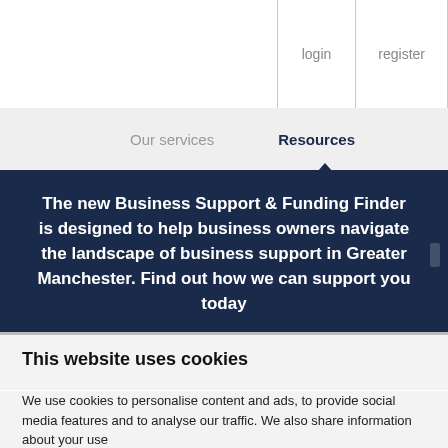login  register
Our services   Resources
The new Business Support & Funding Finder is designed to help business owners navigate the landscape of business support in Greater Manchester. Find out how we can support you today
Home Page /  Green Technologies and Services / Greater Manchester's Clean Air Zone put on ice
This website uses cookies
We use cookies to personalise content and ads, to provide social media features and to analyse our traffic. We also share information about your use